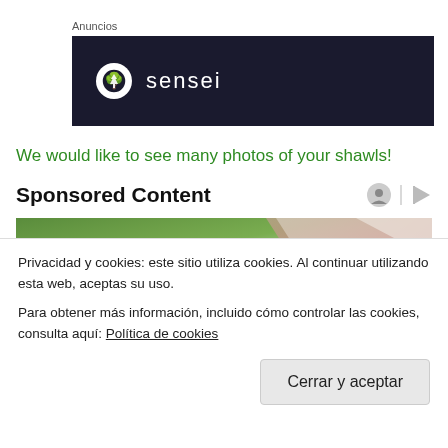Anuncios
[Figure (logo): Dark navy banner with Sensei logo: white circle with tree icon and 'sensei' text in white]
We would like to see many photos of your shawls!
Sponsored Content
[Figure (photo): Partial photo showing green background and fabric/object blur at top]
Privacidad y cookies: este sitio utiliza cookies. Al continuar utilizando esta web, aceptas su uso.
Para obtener más información, incluido cómo controlar las cookies, consulta aquí: Política de cookies
Cerrar y aceptar